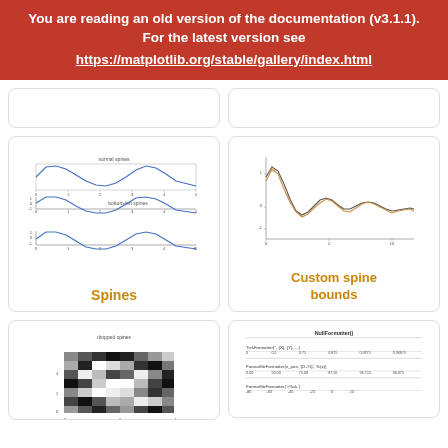You are reading an old version of the documentation (v3.1.1). For the latest version see https://matplotlib.org/stable/gallery/index.html
[Figure (continuous-plot): Top-left card, partially visible, white card with rounded corners]
[Figure (continuous-plot): Top-right card, partially visible, white card with rounded corners]
[Figure (line-chart): Spines demo: three stacked line plots showing normal spines and bottom-left spines with sine waves]
Spines
[Figure (continuous-plot): Custom spine bounds: line chart with two overlapping curves (one dark, one orange) showing a damped oscillation from 0 to 20]
Custom spine bounds
[Figure (other): Dropped spines: grayscale pixel grid/checkerboard image]
[Figure (other): NullFormatter, TickFormatter, FuncFormatter table/code listing]